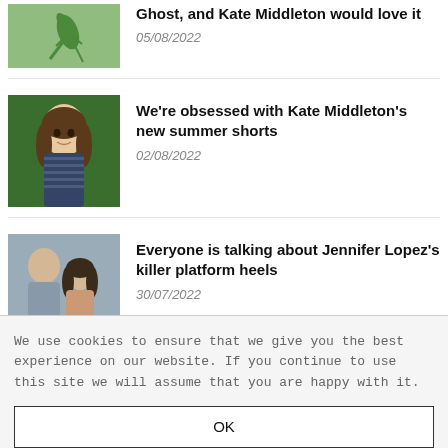Ghost, and Kate Middleton would love it — 05/08/2022
We're obsessed with Kate Middleton's new summer shorts — 02/08/2022
Everyone is talking about Jennifer Lopez's killer platform heels — 30/07/2022
Categories
We use cookies to ensure that we give you the best experience on our website. If you continue to use this site we will assume that you are happy with it.
OK